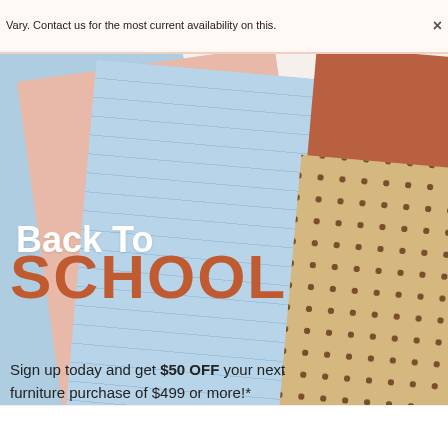Vary. Contact us for the most current availability on this. ×
[Figure (photo): Back to school promotional advertisement showing colorful overlapping notebook/paper shapes in blue, pink, salmon, brown, and tan with polka dots, on a light background. Features the text 'Back To SCHOOL' and a promotional offer.]
Back To SCHOOL
Sign up today and get $50 OFF your next furniture purchase of $499 or more!*